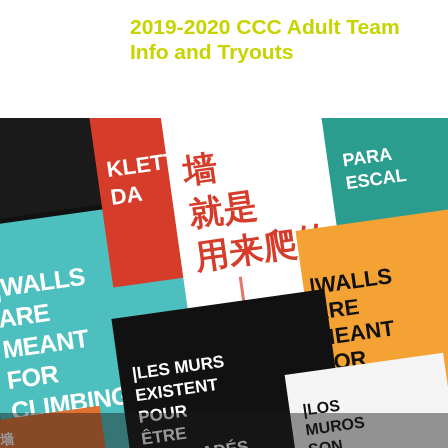2019-2020 CCC Adult Team Info and Tryouts
Event Date: September 13th 2019
[Figure (photo): Colorful collage of North Face 'Walls Are Meant For Climbing' promotional posters in multiple languages including English, French, German, Spanish, and Chinese, displayed at various diagonal angles on a dark background.]